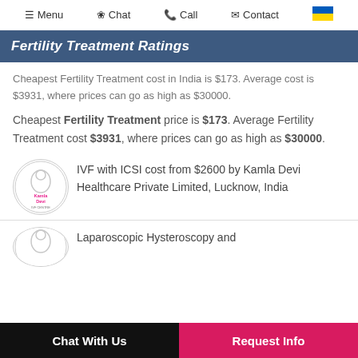Menu  Chat  Call  Contact
Fertility Treatment Ratings
Cheapest Fertility Treatment cost in India is $173. Average cost is $3931, where prices can go as high as $30000.
Cheapest Fertility Treatment price is $173. Average Fertility Treatment cost $3931, where prices can go as high as $30000.
IVF with ICSI cost from $2600 by Kamla Devi Healthcare Private Limited, Lucknow, India
Laparoscopic Hysteroscopy and
Chat With Us  Request Info